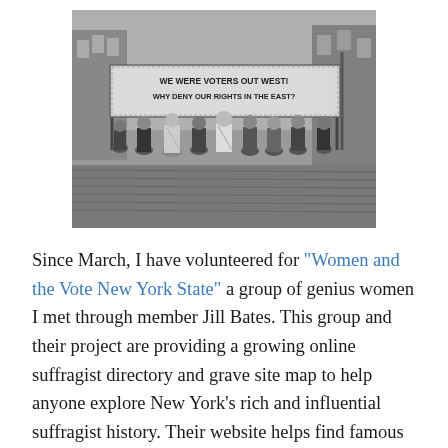[Figure (photo): Black and white historical photograph of suffragist women marching in the street holding a banner that reads 'WE WERE VOTERS OUT WEST! WHY DENY OUR RIGHTS IN THE EAST?']
Since March, I have volunteered for "Women and the Vote New York State" a group of genius women I met through member Jill Bates. This group and their project are providing a growing online suffragist directory and grave site map to help anyone explore New York's rich and influential suffragist history. Their website helps find famous individuals and even those women never heard of whose grassroots efforts resulted in the passage of the